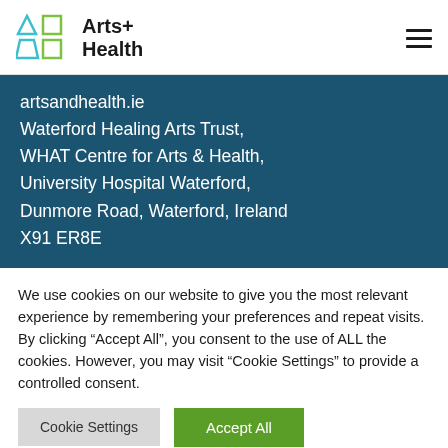[Figure (logo): Arts+ Health logo with cyan triangle and green rectangle icons, bold text 'Arts+ Health']
artsandhealth.ie
Waterford Healing Arts Trust,
WHAT Centre for Arts & Health,
University Hospital Waterford,
Dunmore Road, Waterford, Ireland
X91 ER8E
We use cookies on our website to give you the most relevant experience by remembering your preferences and repeat visits. By clicking “Accept All”, you consent to the use of ALL the cookies. However, you may visit "Cookie Settings" to provide a controlled consent.